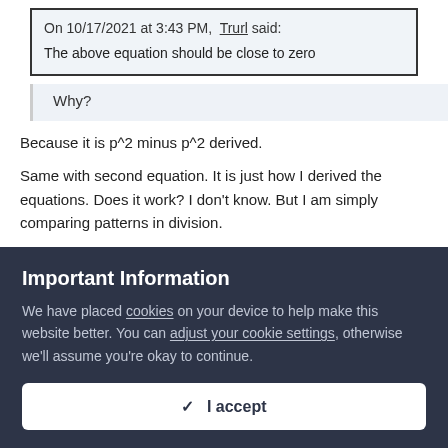On 10/17/2021 at 3:43 PM, Trurl said:
The above equation should be close to zero
Why?
Because it is p^2 minus p^2 derived.
Same with second equation. It is just how I derived the equations. Does it work? I don't know. But I am simply comparing patterns in division.
Obviously you tried test values. Did it work with your values?
i will run more test values. Let me know if you have any more
Important Information
We have placed cookies on your device to help make this website better. You can adjust your cookie settings, otherwise we'll assume you're okay to continue.
✓  I accept